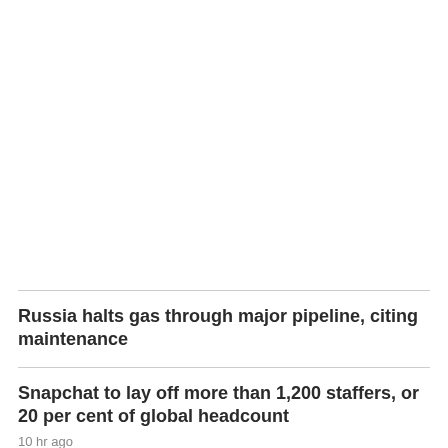Russia halts gas through major pipeline, citing maintenance
Snapchat to lay off more than 1,200 staffers, or 20 per cent of global headcount
10 hr ago